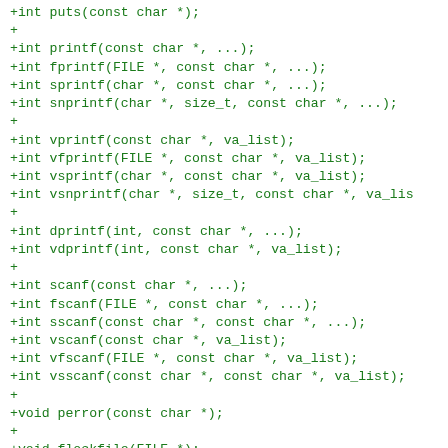+int puts(const char *);
+
+int printf(const char *, ...);
+int fprintf(FILE *, const char *, ...);
+int sprintf(char *, const char *, ...);
+int snprintf(char *, size_t, const char *, ...);
+
+int vprintf(const char *, va_list);
+int vfprintf(FILE *, const char *, va_list);
+int vsprintf(char *, const char *, va_list);
+int vsnprintf(char *, size_t, const char *, va_lis
+
+int dprintf(int, const char *, ...);
+int vdprintf(int, const char *, va_list);
+
+int scanf(const char *, ...);
+int fscanf(FILE *, const char *, ...);
+int sscanf(const char *, const char *, ...);
+int vscanf(const char *, va_list);
+int vfscanf(FILE *, const char *, va_list);
+int vsscanf(const char *, const char *, va_list);
+
+void perror(const char *);
+
+void flockfile(FILE *);
+int ftrylockfile(FILE *);
+void funlockfile(FILE *);
+int getc_unlocked(FILE *);
+int getchar_unlocked(void);
+int putc_unlocked(int, FILE *);
+int putchar_unlocked(int);